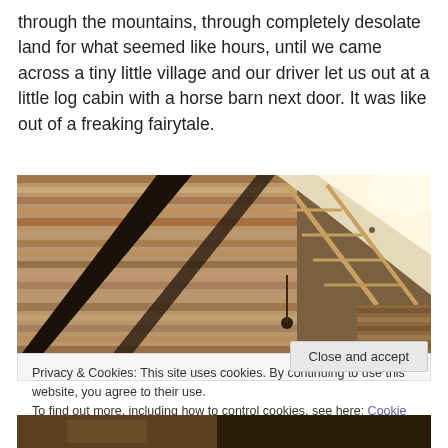through the mountains, through completely desolate land for what seemed like hours, until we came across a tiny little village and our driver let us out at a little log cabin with a horse barn next door. It was like out of a freaking fairytale.
[Figure (photo): Interior view looking up at a rustic wooden barn or log cabin ceiling with exposed wooden beams and rafters. Light streams in from the upper right through a gap or window. The ceiling structure shows thatched or planked wood in a triangular pattern.]
Privacy & Cookies: This site uses cookies. By continuing to use this website, you agree to their use.
To find out more, including how to control cookies, see here: Cookie Policy
Close and accept
[Figure (photo): Partial view of another interior photo of a rustic wooden structure, only partially visible at the bottom of the page.]